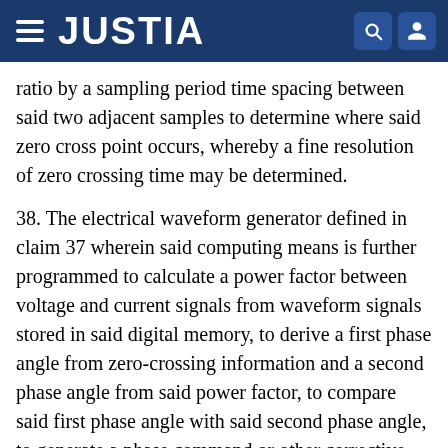JUSTIA
ratio by a sampling period time spacing between said two adjacent samples to determine where said zero cross point occurs, whereby a fine resolution of zero crossing time may be determined.
38. The electrical waveform generator defined in claim 37 wherein said computing means is further programmed to calculate a power factor between voltage and current signals from waveform signals stored in said digital memory, to derive a first phase angle from zero-crossing information and a second phase angle from said power factor, to compare said first phase angle with said second phase angle, to generate a phase command or other corrective algorithm for changing the waveform generator frequency to maintain said predetermined operating point.